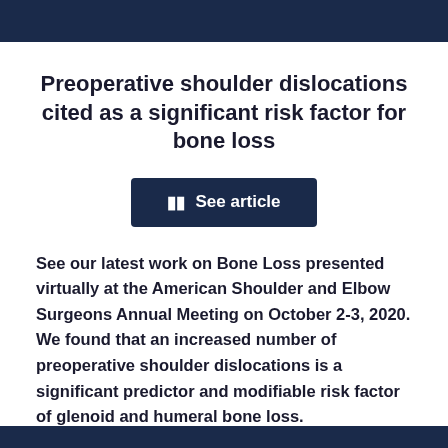Preoperative shoulder dislocations cited as a significant risk factor for bone loss
See article
See our latest work on Bone Loss presented virtually at the American Shoulder and Elbow Surgeons Annual Meeting on October 2-3, 2020. We found that an increased number of preoperative shoulder dislocations is a significant predictor and modifiable risk factor of glenoid and humeral bone loss.